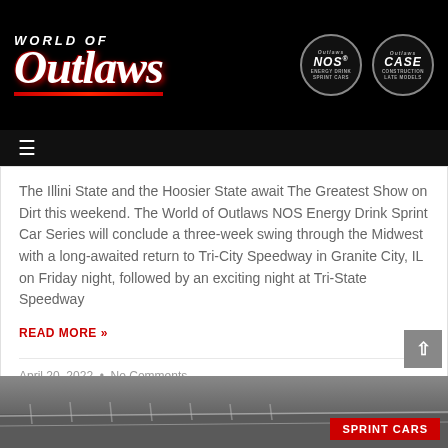World of Outlaws — NOS Energy Drink Sprint Car Series | CASE Construction
The Illini State and the Hoosier State await The Greatest Show on Dirt this weekend. The World of Outlaws NOS Energy Drink Sprint Car Series will conclude a three-week swing through the Midwest with a long-awaited return to Tri-City Speedway in Granite City, IL on Friday night, followed by an exciting night at Tri-State Speedway
READ MORE »
April 20, 2022  •  No Comments
[Figure (photo): Bottom teaser image showing a racing track with a red SPRINT CARS label badge in the lower right corner]